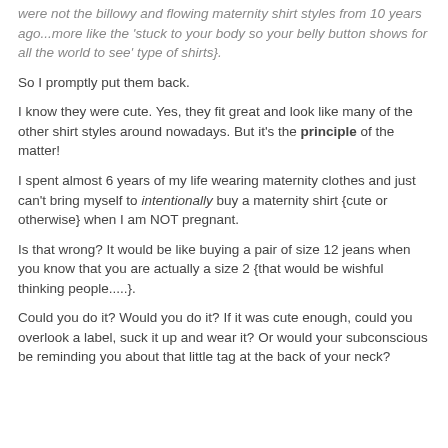were not the billowy and flowing maternity shirt styles from 10 years ago...more like the 'stuck to your body so your belly button shows for all the world to see' type of shirts}.
So I promptly put them back.
I know they were cute. Yes, they fit great and look like many of the other shirt styles around nowadays. But it's the principle of the matter!
I spent almost 6 years of my life wearing maternity clothes and just can't bring myself to intentionally buy a maternity shirt {cute or otherwise} when I am NOT pregnant.
Is that wrong? It would be like buying a pair of size 12 jeans when you know that you are actually a size 2 {that would be wishful thinking people.....}.
Could you do it? Would you do it? If it was cute enough, could you overlook a label, suck it up and wear it? Or would your subconscious be reminding you about that little tag at the back of your neck?